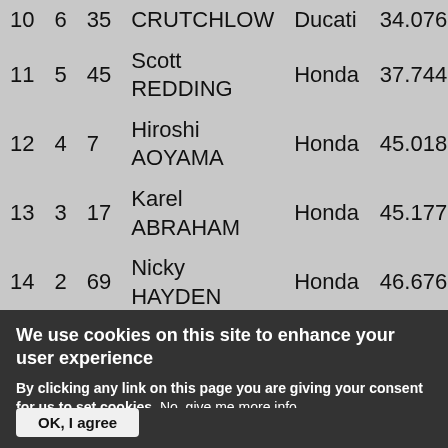| Pos | Pts | No | Rider | Machine | Gap |
| --- | --- | --- | --- | --- | --- |
| 10 | 6 | 35 | CRUTCHLOW | Ducati | 34.076 |
| 11 | 5 | 45 | Scott REDDING | Honda | 37.744 |
| 12 | 4 | 7 | Hiroshi AOYAMA | Honda | 45.018 |
| 13 | 3 | 17 | Karel ABRAHAM | Honda | 45.177 |
| 14 | 2 | 69 | Nicky HAYDEN | Honda | 46.676 |
| 15 | 1 | 9 | Danilo PETRUCCI | ART | 52.769 |
| 16 |  | 6 | Stefan BRADL | Honda | 53.889 |
| 17 |  | 68 | Yonny HERNANDEZ | Ducati | 54.476 |
| 18 |  | 8 | Hector ... | Avintia | 56.215 |
We use cookies on this site to enhance your user experience
By clicking any link on this page you are giving your consent for us to set cookies. No, give me more info
OK, I agree